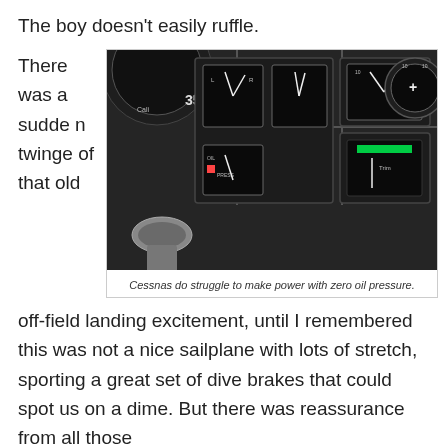The boy doesn’t easily ruffle.
There was a sudden twinge of that old
[Figure (photo): Close-up photograph of Cessna aircraft instrument panel gauges and controls, showing various flight instruments including what appears to be oil pressure gauge at zero.]
Cessnas do struggle to make power with zero oil pressure.
off-field landing excitement, until I remembered this was not a nice sailplane with lots of stretch, sporting a great set of dive brakes that could spot us on a dime. But there was reassurance from all those